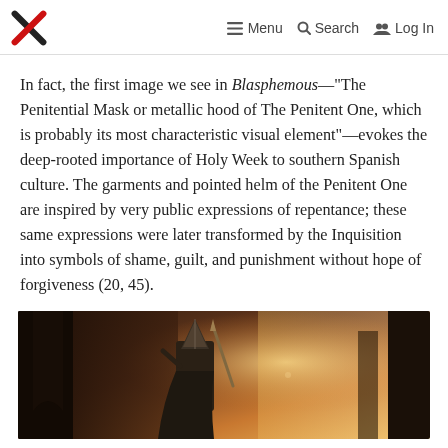☰ Menu  🔍 Search  👥 Log In
In fact, the first image we see in Blasphemous—"The Penitential Mask or metallic hood of The Penitent One, which is probably its most characteristic visual element"—evokes the deep-rooted importance of Holy Week to southern Spanish culture. The garments and pointed helm of the Penitent One are inspired by very public expressions of repentance; these same expressions were later transformed by the Inquisition into symbols of shame, guilt, and punishment without hope of forgiveness (20, 45).
[Figure (photo): Dark fantasy video game artwork showing a helmeted warrior figure (The Penitent One) with a pointed metallic hood, holding a weapon, against a dramatic lit background.]